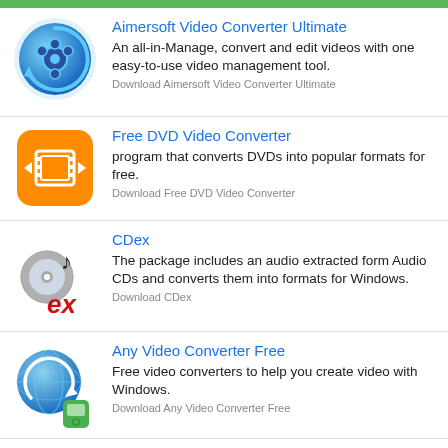[Figure (illustration): Green top bar]
[Figure (logo): Aimersoft Video Converter Ultimate logo - blue circular film reel icon]
Aimersoft Video Converter Ultimate
An all-in-Manage, convert and edit videos with one easy-to-use video management tool.
Download Aimersoft Video Converter Ultimate
[Figure (logo): Free DVD Video Converter logo - orange square with DVD/arrow icon]
Free DVD Video Converter
program that converts DVDs into popular formats for free.
Download Free DVD Video Converter
[Figure (logo): CDex logo - CD with music note and 'ex' text]
CDex
The package includes an audio extracted form Audio CDs and converts them into formats for Windows.
Download CDex
[Figure (logo): Any Video Converter Free logo - globe with arrow and green iPod]
Any Video Converter Free
Free video converters to help you create video with Windows.
Download Any Video Converter Free
WAV MP3 Converter